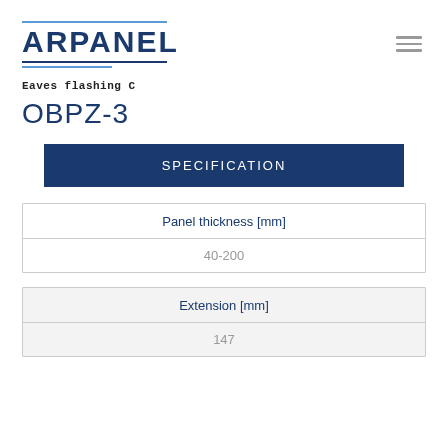[Figure (logo): ARPANEL company logo with blue text and decorative lines]
Eaves flashing C
OBPZ-3
| SPECIFICATION |
| --- |
| Panel thickness [mm] | 40-200 |
| Extension [mm] | 147 |